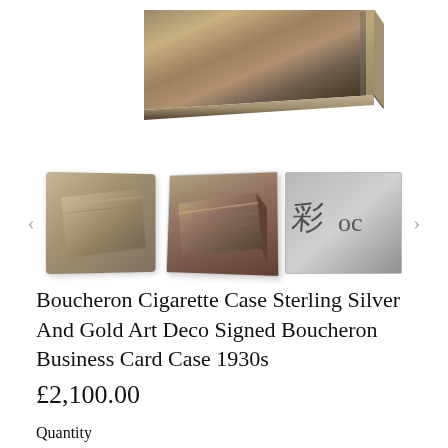[Figure (photo): Top portion of a Boucheron sterling silver and gold cigarette case, showing layered metal edge with dark and light stripes]
[Figure (photo): Thumbnail 1: flat view of the cigarette/business card case showing mixed metal tones]
[Figure (photo): Thumbnail 2: angled view of the case showing layered construction]
[Figure (photo): Thumbnail 3: close-up of Boucheron signature engraving on the case]
Boucheron Cigarette Case Sterling Silver And Gold Art Deco Signed Boucheron Business Card Case 1930s
£2,100.00
Quantity